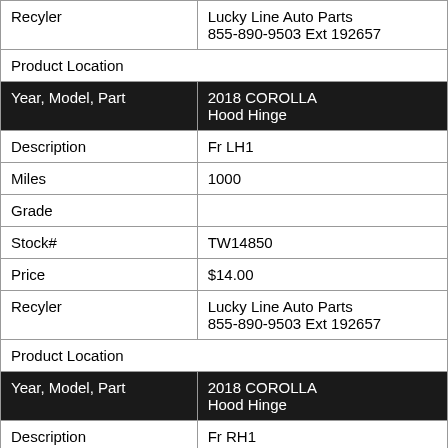| Recyler | Lucky Line Auto Parts
855-890-9503 Ext 192657 |
| Product Location |  |
| Year, Model, Part | 2018 COROLLA
Hood Hinge |
| Description | Fr LH1 |
| Miles | 1000 |
| Grade |  |
| Stock# | TW14850 |
| Price | $14.00 |
| Recyler | Lucky Line Auto Parts
855-890-9503 Ext 192657 |
| Product Location |  |
| Year, Model, Part | 2018 COROLLA
Hood Hinge |
| Description | Fr RH1 |
| Miles | 1000 |